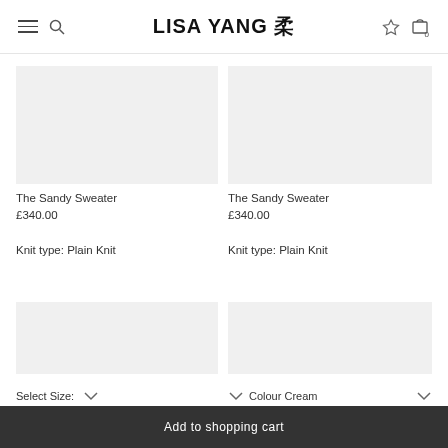LISA YANG 柔
[Figure (photo): Product image placeholder — The Sandy Sweater (left, top row)]
The Sandy Sweater
£340.00

Knit type: Plain Knit
[Figure (photo): Product image placeholder — The Sandy Sweater (right, top row)]
The Sandy Sweater
£340.00

Knit type: Plain Knit
[Figure (photo): Thumbnail product image placeholder (left, bottom row)]
[Figure (photo): Thumbnail product image placeholder (right, bottom row)]
Select Size:
Colour Cream
Add to shopping cart